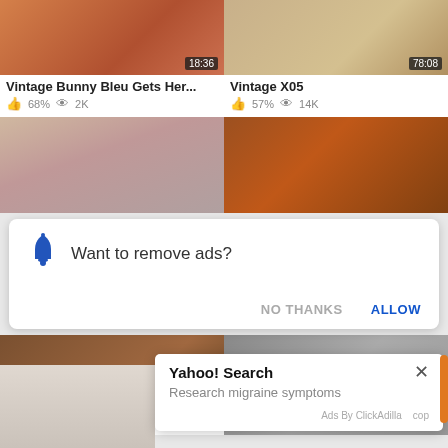[Figure (screenshot): Screenshot of adult video website showing video thumbnails with titles, view counts, and overlaid popups for notifications and ads]
Vintage Bunny Bleu Gets Her... 68% 2K
Vintage X05 57% 14K
Want to remove ads?
NO THANKS    ALLOW
Voyeurhit u... more
Yahoo! Search
Research migraine symptoms
Ads By ClickAdilla   cop